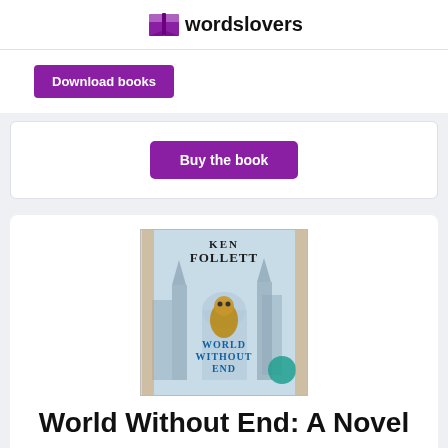wordslovers
[Figure (logo): wordslovers logo with purple open book icon and text]
Download books
Buy the book
[Figure (photo): Book cover of World Without End by Ken Follett showing cathedral architecture]
World Without End: A Novel
por Book 2